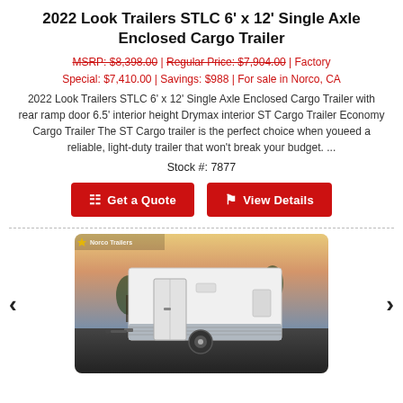2022 Look Trailers STLC 6' x 12' Single Axle Enclosed Cargo Trailer
MSRP: $8,398.00 | Regular Price: $7,904.00 | Factory Special: $7,410.00 | Savings: $988 | For sale in Norco, CA
2022 Look Trailers STLC 6' x 12' Single Axle Enclosed Cargo Trailer with rear ramp door 6.5' interior height Drymax interior ST Cargo Trailer Economy Cargo Trailer The ST Cargo trailer is the perfect choice when youeed a reliable, light-duty trailer that won't break your budget. ...
Stock #: 7877
Get a Quote | View Details
[Figure (photo): Photograph of a white enclosed cargo trailer parked in a lot, with palm trees and sunset sky in the background. Watermark reads 'Norco Trailers'.]